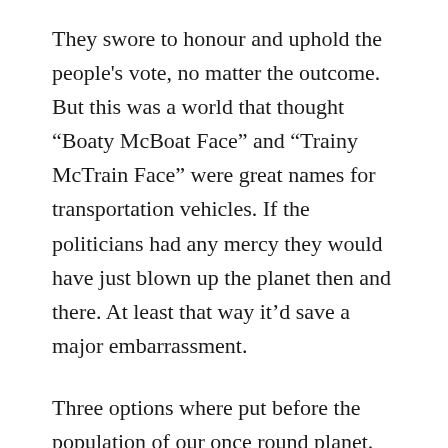They swore to honour and uphold the people's vote, no matter the outcome. But this was a world that thought “Boaty McBoat Face” and “Trainy McTrain Face” were great names for transportation vehicles. If the politicians had any mercy they would have just blown up the planet then and there. At least that way it’d save a major embarrassment.
Three options where put before the population of our once round planet.
Option One: Send a team of highly experienced, highly skilled, astronauts to the surface of the comet, plant an explosive device deep inside its belly, and detonate from a safe distance. This